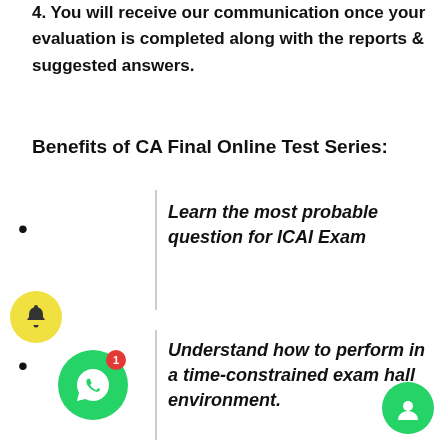4. You will receive our communication once your evaluation is completed along with the reports & suggested answers.
Benefits of CA Final Online Test Series:
Learn the most probable question for ICAI Exam
Understand how to perform in a time-constrained exam hall environment.